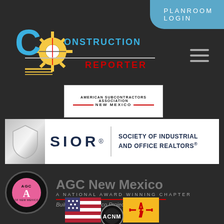PLANROOM LOGIN
[Figure (logo): Construction Reporter logo with New Mexico Zia symbol graphic and blue stylized C]
[Figure (logo): Hamburger/menu icon - three horizontal lines]
[Figure (logo): American Subcontractors Association New Mexico logo in white box]
[Figure (logo): SIOR - Society of Industrial and Office Realtors logo with silver shield on white banner]
[Figure (logo): AGC New Mexico - A National Award Winning Chapter logo with pink/black circular badge]
[Figure (logo): ACNM logo with American flag and New Mexico flag]